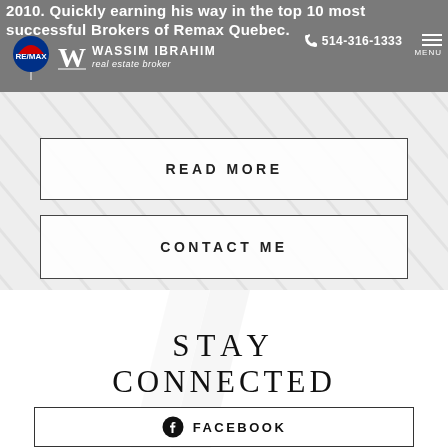2010. Quickly earning his way in the top 10 most successful Brokers of Remax Quebec.
WASSIM IBRAHIM real estate broker
514-316-1333
MENU
READ MORE
CONTACT ME
STAY CONNECTED
FACEBOOK